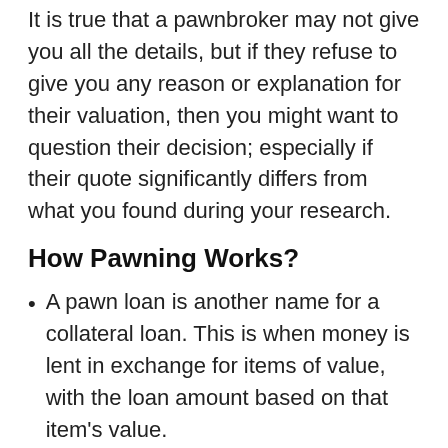It is true that a pawnbroker may not give you all the details, but if they refuse to give you any reason or explanation for their valuation, then you might want to question their decision; especially if their quote significantly differs from what you found during your research.
How Pawning Works?
A pawn loan is another name for a collateral loan. This is when money is lent in exchange for items of value, with the loan amount based on that item's value.
The item is returned when the loan is completely paid off or can be surrendered as payment in full.
So when you bring an item to Pawn shop for a